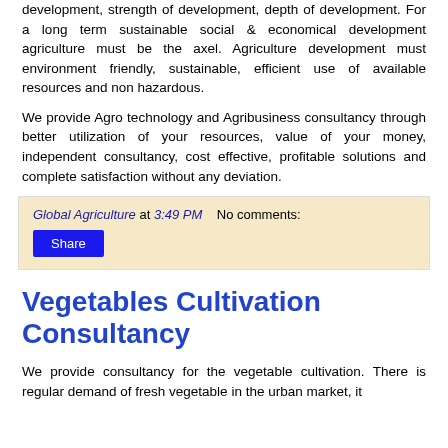development, strength of development, depth of development. For a long term sustainable social & economical development agriculture must be the axel. Agriculture development must environment friendly, sustainable, efficient use of available resources and non hazardous.
We provide Agro technology and Agribusiness consultancy through better utilization of your resources, value of your money, independent consultancy, cost effective, profitable solutions and complete satisfaction without any deviation.
Global Agriculture at 3:49 PM   No comments:
Share
Vegetables Cultivation Consultancy
We provide consultancy for the vegetable cultivation. There is regular demand of fresh vegetable in the urban market, it